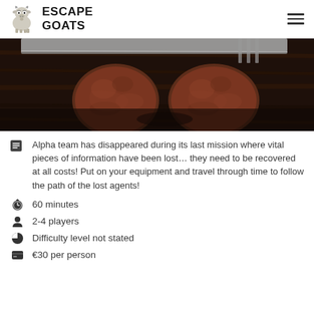ESCAPE GOATS
[Figure (photo): Dark moody food photo showing two raw meatballs on a wooden cutting board with a knife blade visible at the top]
Alpha team has disappeared during its last mission where vital pieces of information have been lost... they need to be recovered at all costs! Put on your equipment and travel through time to follow the path of the lost agents!
60 minutes
2-4 players
Difficulty level not stated
€30 per person